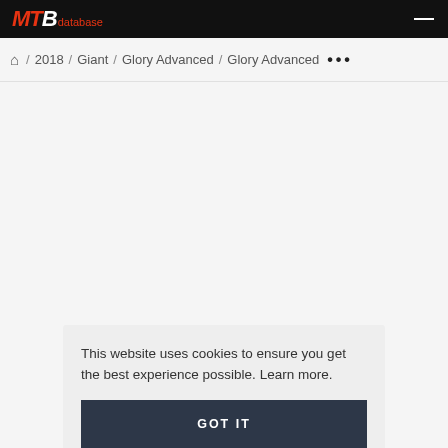MTB database
🏠 / 2018 / Giant / Glory Advanced / Glory Advanced ···
This website uses cookies to ensure you get the best experience possible. Learn more.
GOT IT